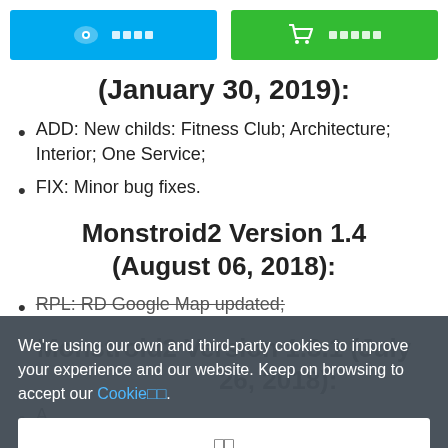[Figure (other): Two buttons: blue 'DEMO' button with eye icon and green 'BUY' button with cart icon]
(January 30, 2019):
ADD: New childs: Fitness Club; Architecture; Interior; One Service;
FIX: Minor bug fixes.
Monstroid2 Version 1.4 (August 06, 2018):
RPL: RD Google Map updated;
Monstroid2 Version 1.3.1 (July 26, 2018):
A...
ADD: Buy & Sale headline accessibility...
We're using our own and third-party cookies to improve your experience and our website. Keep on browsing to accept our Cookie□□.